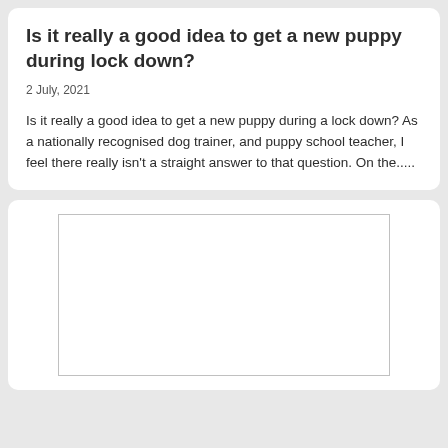Is it really a good idea to get a new puppy during lock down?
2 July, 2021
Is it really a good idea to get a new puppy during a lock down? As a nationally recognised dog trainer, and puppy school teacher, I feel there really isn’t a straight answer to that question. On the.....
[Figure (other): Empty white rectangular image placeholder with a thin border]